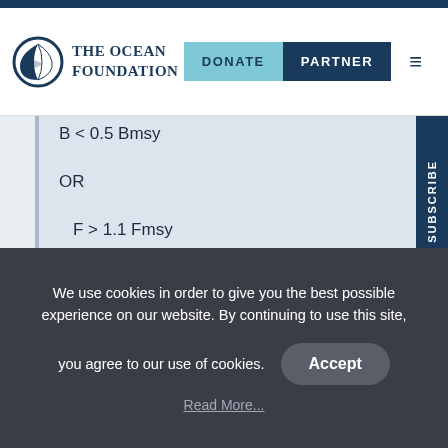The Ocean Foundation — DONATE | PARTNER
OR
Red
overfished AND
overfishing
We use cookies in order to give you the best possible experience on our website. By continuing to use this site, you agree to our use of cookies.
Accept
Read More...